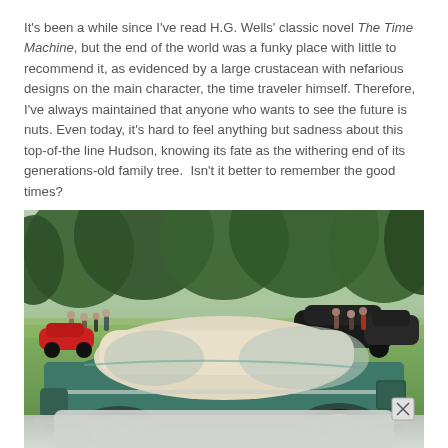It's been a while since I've read H.G. Wells' classic novel The Time Machine, but the end of the world was a funky place with little to recommend it, as evidenced by a large crustacean with nefarious designs on the main character, the time traveler himself. Therefore, I've always maintained that anyone who wants to see the future is nuts. Even today, it's hard to feel anything but sadness about this top-of-the line Hudson, knowing its fate as the withering end of its generations-old family tree. Isn't it better to remember the good times?
[Figure (photo): A classic teal/green Hudson automobile with cream-colored roof photographed at an outdoor car show on a grassy lawn, with trees in background and other vintage cars and people visible. A partial view of another car is shown at the bottom of the image.]